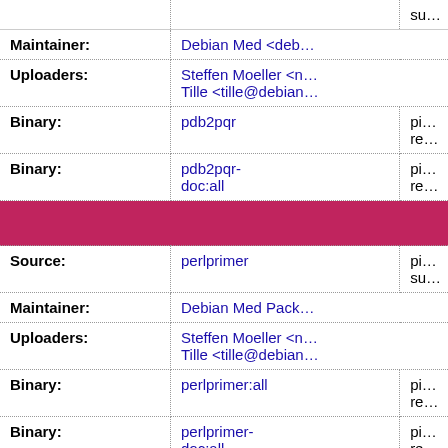| Field | Value | Extra |
| --- | --- | --- |
|  |  | su… |
| Maintainer: | Debian Med <deb… |  |
| Uploaders: | Steffen Moeller <n…
Tille <tille@debian… |  |
| Binary: | pdb2pqr | pi…
re… |
| Binary: | pdb2pqr-doc:all | pi…
re… |
| [section header - perlprimer] |  |  |
| Source: | perlprimer | pi…
su… |
| Maintainer: | Debian Med Pack… |  |
| Uploaders: | Steffen Moeller <n…
Tille <tille@debian… |  |
| Binary: | perlprimer:all | pi…
re… |
| Binary: | perlprimer-doc:all | pi…
re… |
| [section header - plink] |  |  |
| Source: | plink | pi… |